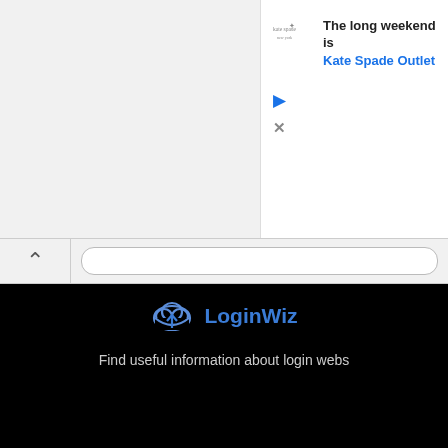[Figure (screenshot): Kate Spade advertisement with logo, headline 'The long weekend is' and brand name 'Kate Spade Outlet' in blue]
[Figure (screenshot): Browser navigation bar with back arrow and address bar]
LoginWiz
Find useful information about login webs